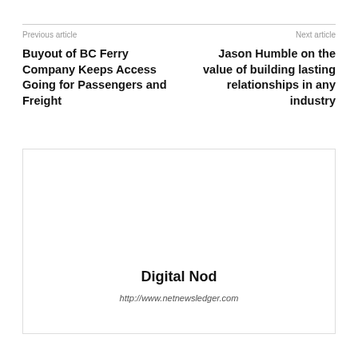Previous article
Next article
Buyout of BC Ferry Company Keeps Access Going for Passengers and Freight
Jason Humble on the value of building lasting relationships in any industry
[Figure (other): Card/widget box with Digital Nod logo and URL]
Digital Nod
http://www.netnewsledger.com